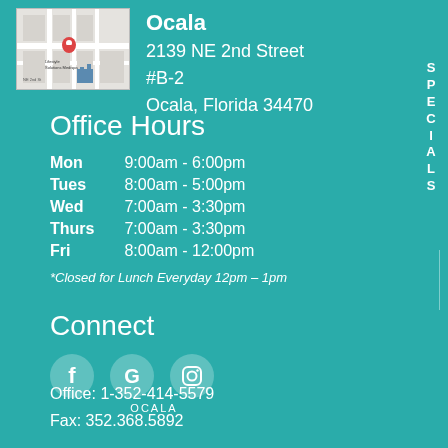[Figure (map): Small map thumbnail showing location of Lifestyle Solutions Medispa at 2139 NE 2nd Street, Ocala]
Ocala
2139 NE 2nd Street
#B-2
Ocala, Florida 34470
Office Hours
| Day | Hours |
| --- | --- |
| Mon | 9:00am - 6:00pm |
| Tues | 8:00am - 5:00pm |
| Wed | 7:00am - 3:30pm |
| Thurs | 7:00am - 3:30pm |
| Fri | 8:00am - 12:00pm |
*Closed for Lunch Everyday 12pm – 1pm
Connect
[Figure (infographic): Three social media icons: Facebook (f), Google (G), Instagram (camera), labeled OCALA]
Office: 1-352-414-5579
Fax: 352.368.5892
SPECIALS